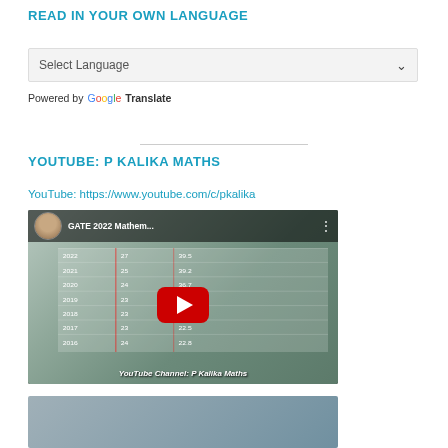READ IN YOUR OWN LANGUAGE
Select Language
Powered by Google Translate
YOUTUBE: P KALIKA MATHS
YouTube: https://www.youtube.com/c/pkalika
[Figure (screenshot): YouTube video thumbnail showing GATE 2022 Mathematics video from P Kalika Maths channel with a table of data and a red play button overlay]
[Figure (screenshot): Partial YouTube video thumbnail at bottom of page]